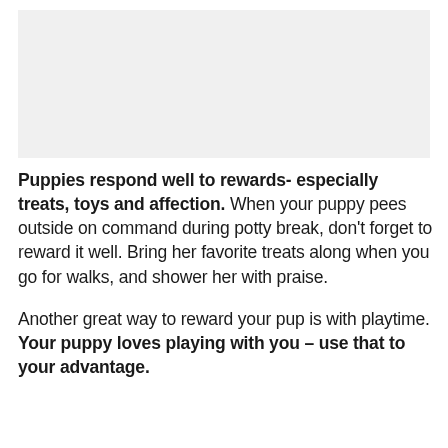[Figure (photo): Image placeholder at top of page (puppy-related photo)]
Puppies respond well to rewards- especially treats, toys and affection. When your puppy pees outside on command during potty break, don't forget to reward it well. Bring her favorite treats along when you go for walks, and shower her with praise.

Another great way to reward your pup is with playtime. Your puppy loves playing with you – use that to your advantage.